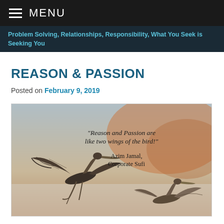≡ MENU
Problem Solving, Relationships, Responsibility, What You Seek is Seeking You
REASON & PASSION
Posted on February 9, 2019
[Figure (photo): Two large birds (cranes/herons) in flight against a warm beige/orange sky background, with quote text: 'Reason and Passion are like two wings of the bird!' — Azim Jamal, Corporate Sufi]